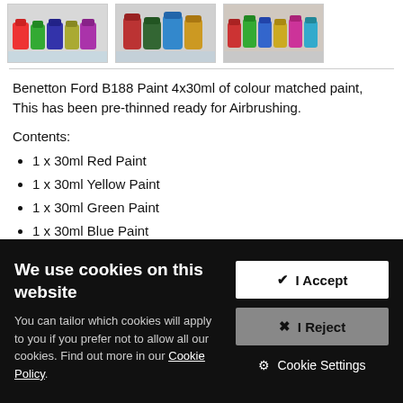[Figure (photo): Three product photos of paint sets for model cars, showing small jars of paint arranged together.]
Benetton Ford B188 Paint 4x30ml of colour matched paint, This has been pre-thinned ready for Airbrushing.
Contents:
1 x 30ml Red Paint
1 x 30ml Yellow Paint
1 x 30ml Green Paint
1 x 30ml Blue Paint
For further information see our Zap Colour Matched Paint ...
We use cookies on this website
You can tailor which cookies will apply to you if you prefer not to allow all our cookies. Find out more in our Cookie Policy.
✔  I Accept
✖  I Reject
⚙ Cookie Settings